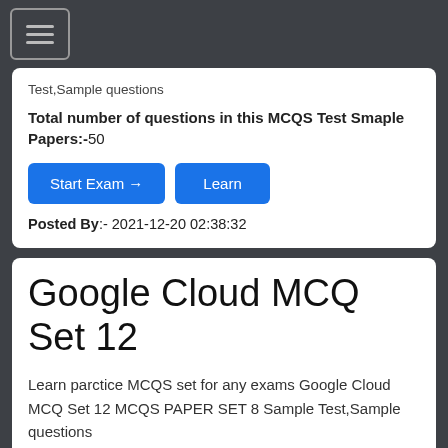☰ (hamburger menu)
Test,Sample questions
Total number of questions in this MCQS Test Smaple Papers:-50
Start Exam → | Learn
Posted By:- 2021-12-20 02:38:32
Google Cloud MCQ Set 12
Learn parctice MCQS set for any exams Google Cloud MCQ Set 12 MCQS PAPER SET 8 Sample Test,Sample questions